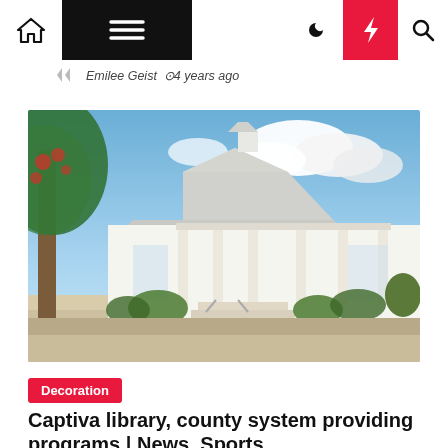Navigation bar with home, menu, moon/dark-mode, bolt/breaking, and search icons
Emilee Geist  ⊙4 years ago
[Figure (photo): Exterior photo of a white building with a metal roof, covered porch with white columns, surrounded by tropical trees and landscaping under a blue sky with clouds — Captiva library building.]
Decoration
Captiva library, county system providing programs | News, Sports